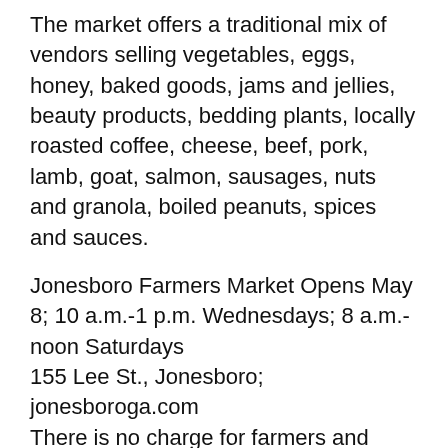The market offers a traditional mix of vendors selling vegetables, eggs, honey, baked goods, jams and jellies, beauty products, bedding plants, locally roasted coffee, cheese, beef, pork, lamb, goat, salmon, sausages, nuts and granola, boiled peanuts, spices and sauces.
Jonesboro Farmers Market Opens May 8; 10 a.m.-1 p.m. Wednesdays; 8 a.m.-noon Saturdays 155 Lee St., Jonesboro; jonesboroga.com There is no charge for farmers and vendors to participate at the market, which makes it unique. Vendors include urban farmers with a variety of locally grown fresh fruits, microgreens and vegetables. Cottage food vendors offer an array of homemade products, such as canned goods, jams, jellies, honey, breads, cookies and cheesecakes. Also available are house plants and vegetable seedlings and crafts created by local artists. All items sold at